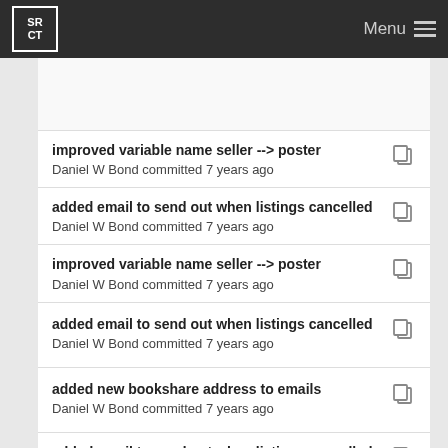SRCT | Menu
improved variable name seller --> poster
Daniel W Bond committed 7 years ago
added email to send out when listings cancelled
Daniel W Bond committed 7 years ago
improved variable name seller --> poster
Daniel W Bond committed 7 years ago
added email to send out when listings cancelled
Daniel W Bond committed 7 years ago
added new bookshare address to emails
Daniel W Bond committed 7 years ago
added email to send out when listings cancelled